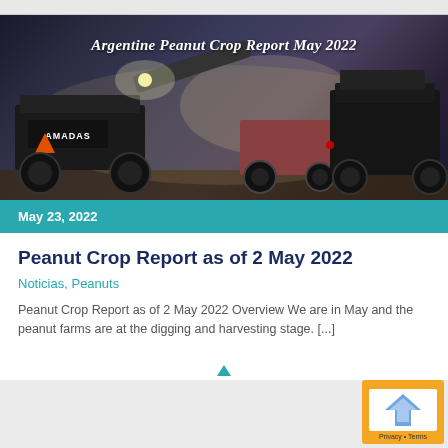[Figure (photo): Night-time photo of Amadas peanut harvesting machinery in a field, with dust and light visible. Text overlay reads 'Argentine Peanut Crop Report May 2022' in italic white text.]
May 23, 2022
Peanut Crop Report as of 2 May 2022
Noticias, Peanuts
Peanut Crop Report as of 2 May 2022 Overview We are in May and the peanut farms are at the digging and harvesting stage. [...]